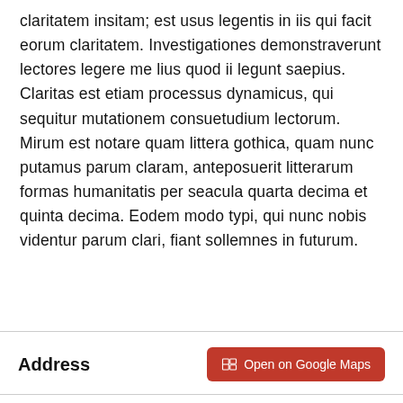claritatem insitam; est usus legentis in iis qui facit eorum claritatem. Investigationes demonstraverunt lectores legere me lius quod ii legunt saepius. Claritas est etiam processus dynamicus, qui sequitur mutationem consuetudium lectorum. Mirum est notare quam littera gothica, quam nunc putamus parum claram, anteposuerit litterarum formas humanitatis per seacula quarta decima et quinta decima. Eodem modo typi, qui nunc nobis videntur parum clari, fiant sollemnes in futurum.
Address
Open on Google Maps
Country House Real Estate